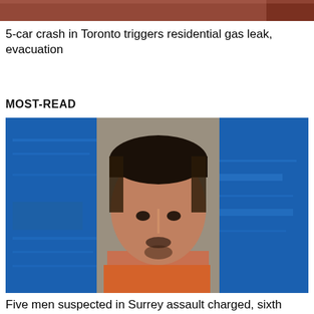[Figure (photo): Partial top image strip, reddish/brown background, cropped photo visible at top of page]
5-car crash in Toronto triggers residential gas leak, evacuation
MOST-READ
[Figure (photo): Mugshot-style photo of a young Hispanic man with short dark hair and goatee, wearing an orange shirt, against a blue background]
Five men suspected in Surrey assault charged, sixth